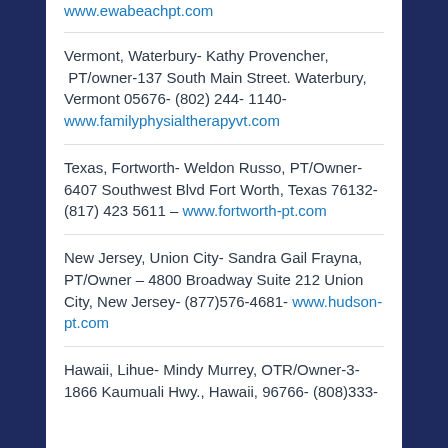www.ewabeachpt.com
Vermont, Waterbury- Kathy Provencher, PT/owner-137 South Main Street. Waterbury, Vermont 05676- (802) 244- 1140- www.familyphysialtherapyvt.com
Texas, Fortworth- Weldon Russo, PT/Owner- 6407 Southwest Blvd Fort Worth, Texas 76132- (817) 423 5611 – www.fortworth-pt.com
New Jersey, Union City- Sandra Gail Frayna, PT/Owner – 4800 Broadway Suite 212 Union City, New Jersey- (877)576-4681- www.hudson-pt.com
Hawaii, Lihue- Mindy Murrey, OTR/Owner- 3-1866 Kaumuali Hwy., Hawaii, 96766- (808)333-